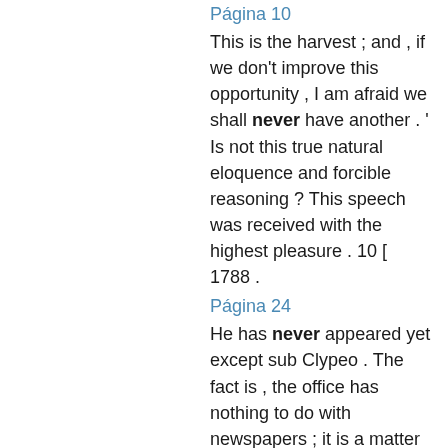Página 10
This is the harvest ; and , if we don't improve this opportunity , I am afraid we shall never have another . ' Is not this true natural eloquence and forcible reasoning ? This speech was received with the highest pleasure . 10 [ 1788 .
Página 24
He has never appeared yet except sub Clypeo . The fact is , the office has nothing to do with newspapers ; it is a matter merely between the printers and the riders , who have the carriage of them as a perquisite .
Página 53
I never think of my